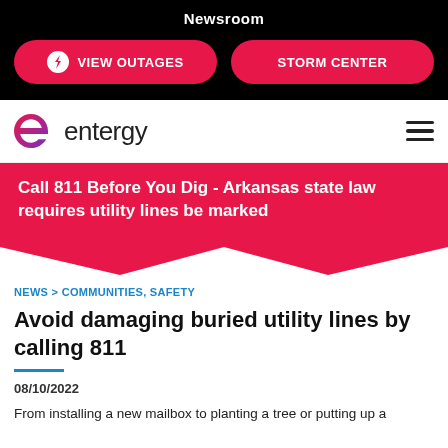Newsroom
VIEW OUTAGES
STORM CENTER
[Figure (logo): Entergy logo with stylized 'e' icon in pink and purple gradient]
[Figure (infographic): Red/pink banner with white text: Call 811 Before You Dig - Arkansas state law requires utility lines be marked, with a chevron arrow at the bottom]
NEWS > COMMUNITIES, SAFETY
Avoid damaging buried utility lines by calling 811
08/10/2022
From installing a new mailbox to planting a tree or putting up a